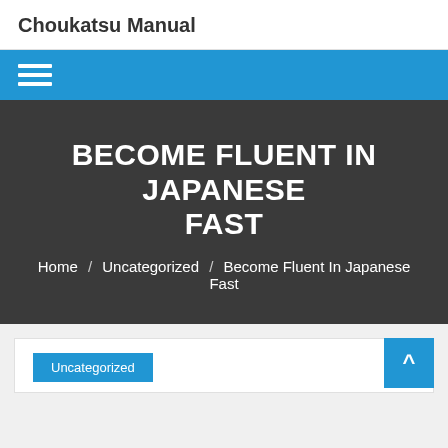Choukatsu Manual
[Figure (other): Blue navigation bar with hamburger menu icon (three white horizontal lines)]
BECOME FLUENT IN JAPANESE FAST
Home / Uncategorized / Become Fluent In Japanese Fast
[Figure (other): Blue scroll-to-top button with upward arrow in bottom right of light gray content area]
Uncategorized